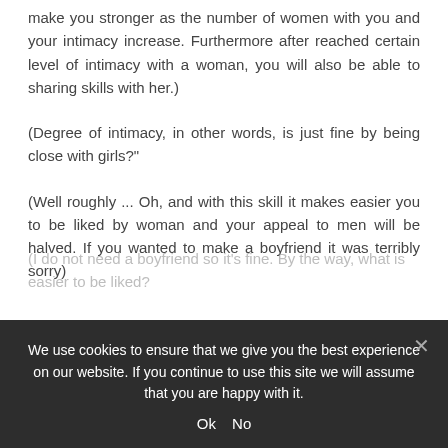make you stronger as the number of women with you and your intimacy increase. Furthermore after reached certain level of intimacy with a woman, you will also be able to sharing skills with her.)
(Degree of intimacy, in other words, is just fine by being close with girls?"
(Well roughly ... Oh, and with this skill it makes easier you to be liked by woman and your appeal to men will be halved. If you wanted to make a boyfriend it was terribly sorry)
(I do not need a boyfriend so it's fine. By the way, what is easier to be liked?
(To put it briefly it makes easier to fall in love with you)
We use cookies to ensure that we give you the best experience on our website. If you continue to use this site we will assume that you are happy with it.
Ok   No